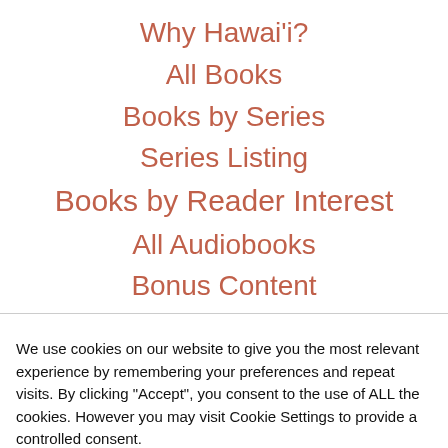Why Hawai'i?
All Books
Books by Series
Series Listing
Books by Reader Interest
All Audiobooks
Bonus Content
Meet Me! (partially visible behind overlay)
We use cookies on our website to give you the most relevant experience by remembering your preferences and repeat visits. By clicking “Accept”, you consent to the use of ALL the cookies. However you may visit Cookie Settings to provide a controlled consent.
Cookie settings
ACCEPT
…mmunity (partially visible)